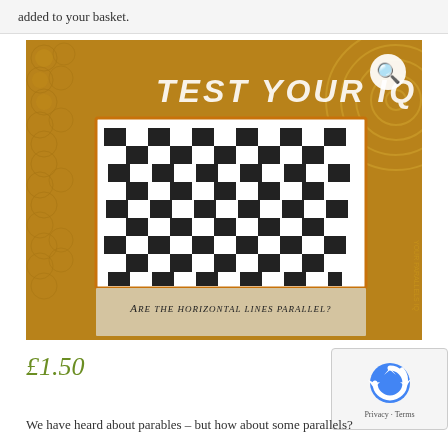added to your basket.
[Figure (photo): Product image for 'Test Your IQ' card/book showing a checkerboard optical illusion with text 'Are the horizontal lines parallel?' overlaid on a gold bubble-wrap background, with a magnifying glass search icon in the top right.]
£1.50
We have heard about parables – but how about some parallels?